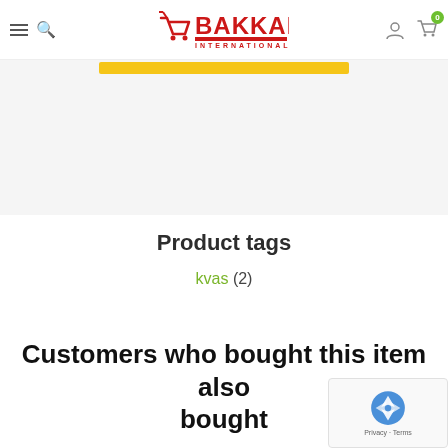BAKKAL INTERNATIONAL — navigation header with hamburger menu, search icon, logo, user icon, cart icon with badge 0
[Figure (screenshot): Yellow/gold horizontal banner bar]
Product tags
kvas (2)
Customers who bought this item also bought